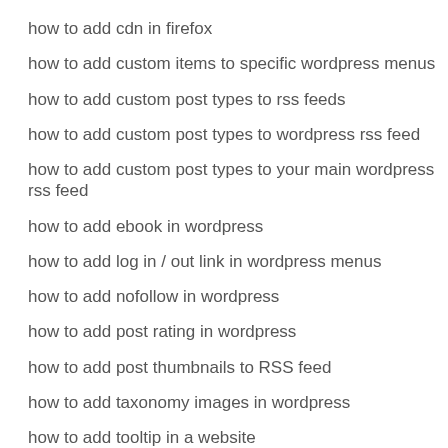how to add cdn in firefox
how to add custom items to specific wordpress menus
how to add custom post types to rss feeds
how to add custom post types to wordpress rss feed
how to add custom post types to your main wordpress rss feed
how to add ebook in wordpress
how to add log in / out link in wordpress menus
how to add nofollow in wordpress
how to add post rating in wordpress
how to add post thumbnails to RSS feed
how to add taxonomy images in wordpress
how to add tooltip in a website